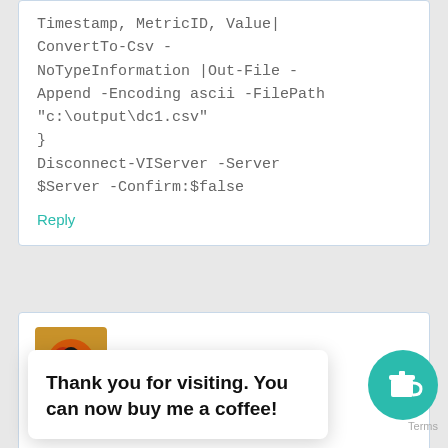Timestamp, MetricID, Value|
ConvertTo-Csv -NoTypeInformation |Out-File -Append -Encoding ascii -FilePath
"c:\output\dc1.csv"
}
Disconnect-VIServer -Server $Server -Confirm:$false
Reply
LucD
Thank you for visiting. You can now buy me a coffee!
metrics in one Get-Stat call.